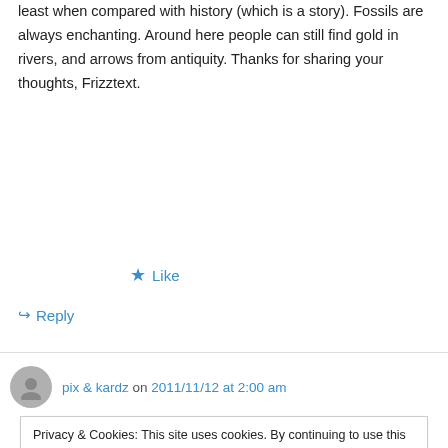... least when compared with history (which is a story). Fossils are always enchanting. Around here people can still find gold in rivers, and arrows from antiquity. Thanks for sharing your thoughts, Frizztext.
★ Like
↪ Reply
pix & kardz on 2011/11/12 at 2:00 am
Privacy & Cookies: This site uses cookies. By continuing to use this website, you agree to their use. To find out more, including how to control cookies, see here: Cookie Policy
Close and accept